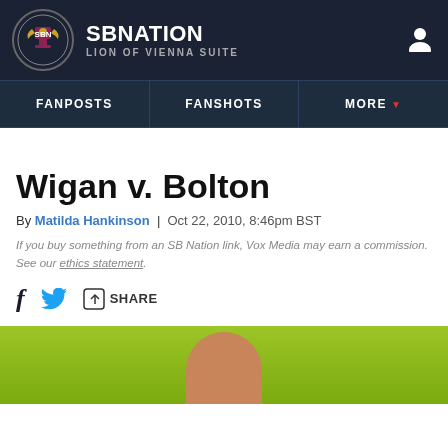SB NATION — LION OF VIENNA SUITE
FANPOSTS
FANSHOTS
MORE
Wigan v. Bolton
By Matilda Hankinson | Oct 22, 2010, 8:46pm BST
If you buy something from an SB Nation link, Vox Media may earn a commission. See our ethics statement.
SHARE
[Figure (photo): Person with green background, partially cropped head visible at bottom of page]